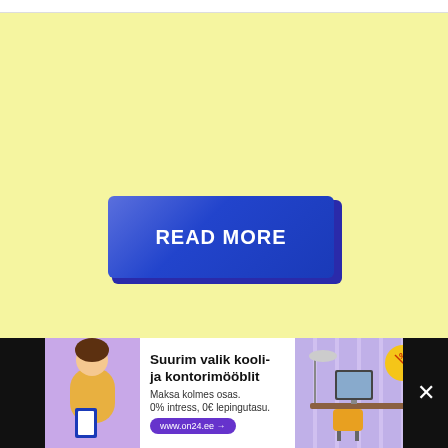[Figure (other): A large blue 3D-style 'READ MORE' button with gradient blue background and shadow, centered on a pale yellow background]
on Newz Online
[Figure (other): Advertisement banner for 'Suurim valik kooli- ja kontorimööblit' with a woman in yellow, office furniture image, discount badge showing %, and button www.on24.ee. Maksa kolmes osas. 0% intress, 0€ lepingutasu.]